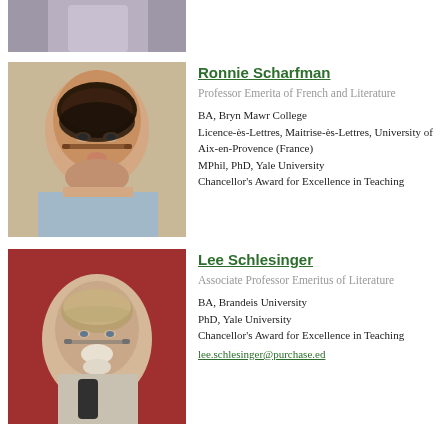[Figure (photo): Partial photo of a person (cropped, top portion only visible), grey/purple background]
[Figure (photo): Photo of Ronnie Scharfman, a woman with curly dark hair wearing glasses, smiling]
Ronnie Scharfman
Professor Emerita of French and Literature
BA, Bryn Mawr College
Licence-ès-Lettres, Maitrise-ès-Lettres, University of Aix-en-Provence (France)
MPhil, PhD, Yale University
Chancellor's Award for Excellence in Teaching
[Figure (photo): Photo of Lee Schlesinger, an older man with glasses and a white beard, wearing a scarf, against a red background]
Lee Schlesinger
Associate Professor Emeritus of Literature
BA, Brandeis University
PhD, Yale University
Chancellor's Award for Excellence in Teaching
lee.schlesinger@purchase.ed